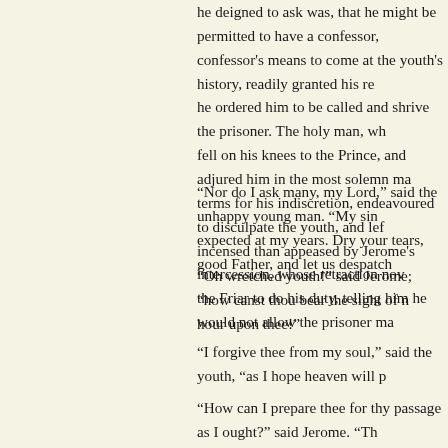he deigned to ask was, that he might be permitted to have a confessor, confessor's means to come at the youth's history, readily granted his re he ordered him to be called and shrive the prisoner. The holy man, wh fell on his knees to the Prince, and adjured him in the most solemn ma terms for his indiscretion, endeavoured to disculpate the youth, and lef incensed than appeased by Jerome's intercession, whose retraction nov the Friar to do his duty, telling him he would not allow the prisoner ma
“Nor do I ask many, my Lord,” said the unhappy young man. “My sin expected at my years. Dry your tears, good Father, and let us despatch
“Oh wretched youth!” said Jerome; “how canst thou bear the sight of n hour upon thee!”
“I forgive thee from my soul,” said the youth, “as I hope heaven will p
“How can I prepare thee for thy passage as I ought?” said Jerome. “Th forgive that impious man there?”
“I can,” said Theodore; “I do.”
“And does not this touch thee, cruel Prince?” said the Friar.
“————————””””